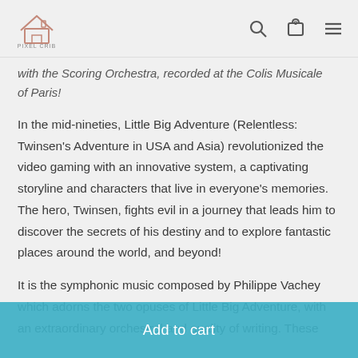[Figure (logo): Pixel Crib logo — house outline icon with text PIXEL CRIB below]
Pixel Crib — navigation header with search, cart, and menu icons
with the Scoring Orchestra, recorded at the Colis Musicale of Paris!
In the mid-nineties, Little Big Adventure (Relentless: Twinsen's Adventure in USA and Asia) revolutionized the video gaming with an innovative system, a captivating storyline and characters that live in everyone's memories. The hero, Twinsen, fights evil in a journey that leads him to discover the secrets of his destiny and to explore fantastic places around the world, and beyond!
It is the symphonic music composed by Philippe Vachey which adorns the two opuses of Little Big Adventure, with an extraordinary orchestral and quality of writing. These